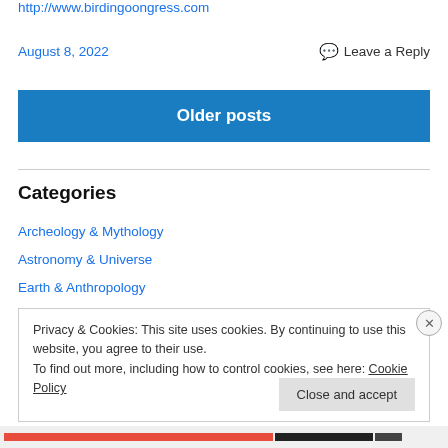http://www.birdingoongress.com
August 8, 2022
Leave a Reply
Older posts
Categories
Archeology & Mythology
Astronomy & Universe
Earth & Anthropology
Privacy & Cookies: This site uses cookies. By continuing to use this website, you agree to their use.
To find out more, including how to control cookies, see here: Cookie Policy
Close and accept